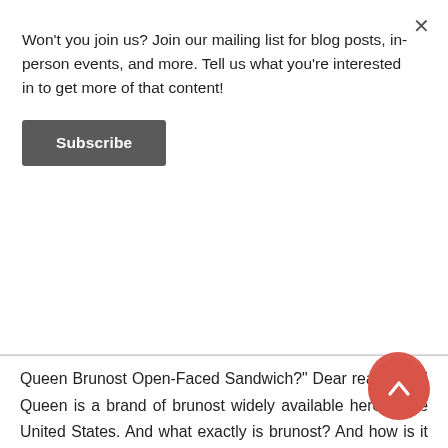Won't you join us? Join our mailing list for blog posts, in-person events, and more. Tell us what you're interested in to get more of that content!
Subscribe
Queen Brunost Open-Faced Sandwich?" Dear reader, Ski Queen is a brand of brunost widely available here in the United States. And what exactly is brunost? And how is it different from gjetost? Did you even know you needed the answers to these questions?
Brunost is literally Norwegian for "brown cheese" and is a very special, very specific style of cheese that is not really a cheese at all. Made from caramelized whey, this super-smooth, sweet and salty cheese can be made from